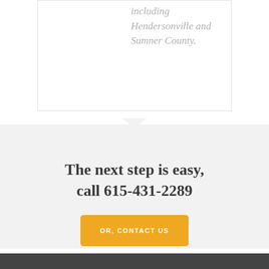including Hendersonville and Sumner County.
The next step is easy, call 615-431-2289
OR, CONTACT US